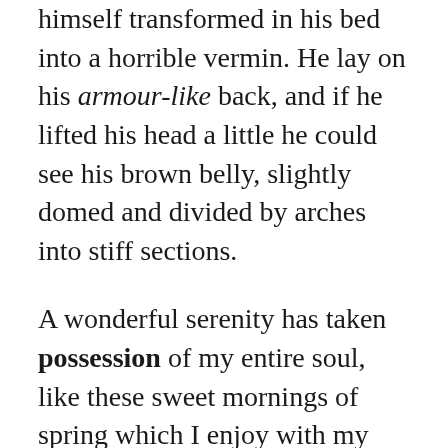himself transformed in his bed into a horrible vermin. He lay on his armour-like back, and if he lifted his head a little he could see his brown belly, slightly domed and divided by arches into stiff sections.
A wonderful serenity has taken possession of my entire soul, like these sweet mornings of spring which I enjoy with my whole heart. Even the all-powerful Pointing has no control about the blind texts it is an almost unorthographic life One day however a small line of blind text by the name of Lorem Ipsum decided to leave for the far World of Grammar. The Big Oxmox